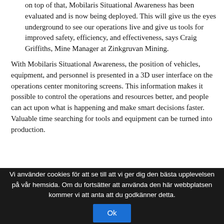on top of that, Mobilaris Situational Awareness has been evaluated and is now being deployed. This will give us the eyes underground to see our operations live and give us tools for improved safety, efficiency, and effectiveness, says Craig Griffiths, Mine Manager at Zinkgruvan Mining.
With Mobilaris Situational Awareness, the position of vehicles, equipment, and personnel is presented in a 3D user interface on the operations center monitoring screens. This information makes it possible to control the operations and resources better, and people can act upon what is happening and make smart decisions faster. Valuable time searching for tools and equipment can be turned into production.
[Figure (infographic): Diagram showing connectivity icons (LTE, Bluetooth, GPS, Wi-Fi) connected via arrows to a central circular element, with annotation 'Position based on reference point (BLE, Wi-Fi, LTE) or GPS', and text 'Mobilaris Virtual Tag uses other BLE for localisation purposes', and a fire extinguisher icon on the right.]
Vi använder cookies för att se till att vi ger dig den bästa upplevelsen på vår hemsida. Om du fortsätter att använda den här webbplatsen kommer vi att anta att du godkänner detta.